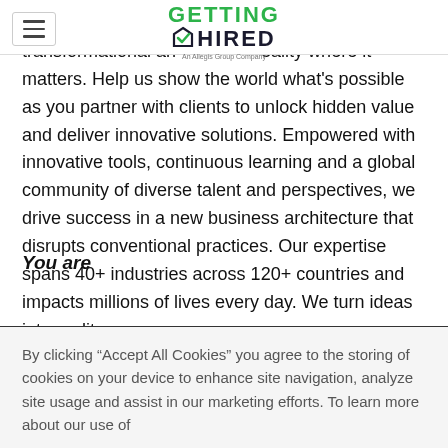[Figure (logo): Getting Hired logo — 'GETTING' in green uppercase, checkmark icon, 'HIRED' in dark uppercase, tagline 'An Allegis Group Company']
the edge where the aspirational meets the transformational and reality where it matters. Help us show the world what's possible as you partner with clients to unlock hidden value and deliver innovative solutions. Empowered with innovative tools, continuous learning and a global community of diverse talent and perspectives, we drive success in a new business architecture that disrupts conventional practices. Our expertise spans 40+ industries across 120+ countries and impacts millions of lives every day. We turn ideas into reality.
You are
By clicking “Accept All Cookies” you agree to the storing of cookies on your device to enhance site navigation, analyze site usage and assist in our marketing efforts. To learn more about our use of